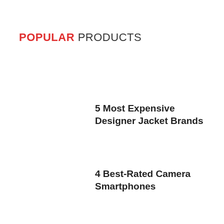POPULAR PRODUCTS
5 Most Expensive Designer Jacket Brands
4 Best-Rated Camera Smartphones